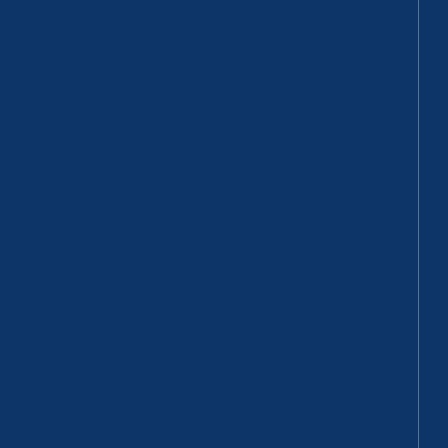of water, valued at £42,500, at a lit o